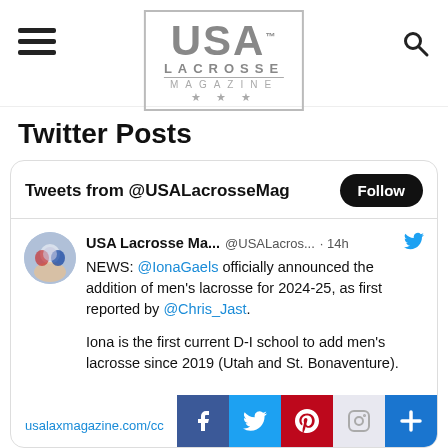USA Lacrosse Magazine
Twitter Posts
Tweets from @USALacrosseMag
USA Lacrosse Ma... @USALacros... · 14h
NEWS: @IonaGaels officially announced the addition of men's lacrosse for 2024-25, as first reported by @Chris_Jast.

Iona is the first current D-I school to add men's lacrosse since 2019 (Utah and St. Bonaventure).
usalaxmagazine.com/cc